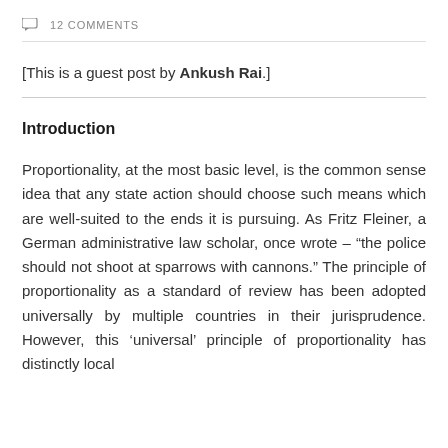12 COMMENTS
[This is a guest post by Ankush Rai.]
Introduction
Proportionality, at the most basic level, is the common sense idea that any state action should choose such means which are well-suited to the ends it is pursuing. As Fritz Fleiner, a German administrative law scholar, once wrote – “the police should not shoot at sparrows with cannons.” The principle of proportionality as a standard of review has been adopted universally by multiple countries in their jurisprudence. However, this ‘universal’ principle of proportionality has distinctly local